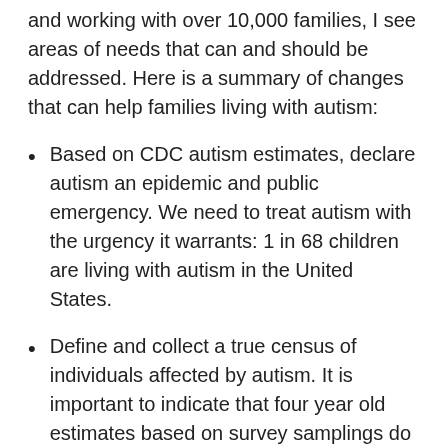and working with over 10,000 families, I see areas of needs that can and should be addressed. Here is a summary of changes that can help families living with autism:
Based on CDC autism estimates, declare autism an epidemic and public emergency. We need to treat autism with the urgency it warrants: 1 in 68 children are living with autism in the United States.
Define and collect a true census of individuals affected by autism. It is important to indicate that four year old estimates based on survey samplings do not work. Real numbers and details such as age groups and severity are urgently needed to review and address their unique needs.